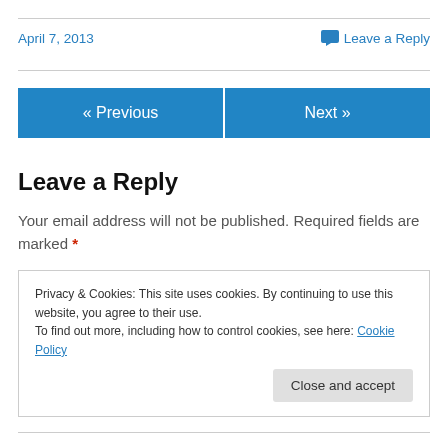April 7, 2013
Leave a Reply
« Previous
Next »
Leave a Reply
Your email address will not be published. Required fields are marked *
Privacy & Cookies: This site uses cookies. By continuing to use this website, you agree to their use.
To find out more, including how to control cookies, see here: Cookie Policy
Close and accept